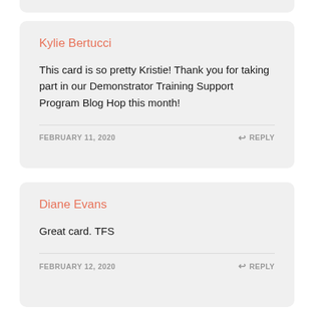Kylie Bertucci
This card is so pretty Kristie! Thank you for taking part in our Demonstrator Training Support Program Blog Hop this month!
FEBRUARY 11, 2020
REPLY
Diane Evans
Great card. TFS
FEBRUARY 12, 2020
REPLY